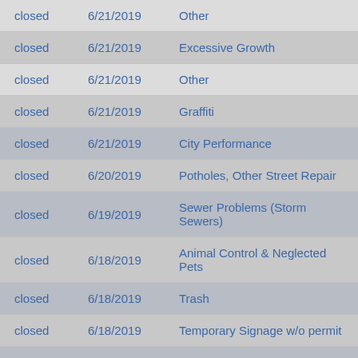| Status | Date | Type |
| --- | --- | --- |
| closed | 6/21/2019 | Other |
| closed | 6/21/2019 | Excessive Growth |
| closed | 6/21/2019 | Other |
| closed | 6/21/2019 | Graffiti |
| closed | 6/21/2019 | City Performance |
| closed | 6/20/2019 | Potholes, Other Street Repair |
| closed | 6/19/2019 | Sewer Problems (Storm Sewers) |
| closed | 6/18/2019 | Animal Control & Neglected Pets |
| closed | 6/18/2019 | Trash |
| closed | 6/18/2019 | Temporary Signage w/o permit |
| closed | 6/18/2019 | Potholes, Other Street Repair |
| closed | 6/18/2019 | Website & Web Services Feedback |